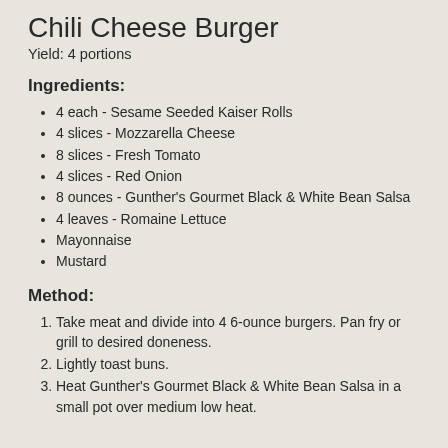Chili Cheese Burger
Yield: 4 portions
Ingredients:
4 each - Sesame Seeded Kaiser Rolls
4 slices - Mozzarella Cheese
8 slices - Fresh Tomato
4 slices - Red Onion
8 ounces - Gunther's Gourmet Black & White Bean Salsa
4 leaves - Romaine Lettuce
Mayonnaise
Mustard
Method:
Take meat and divide into 4 6-ounce burgers. Pan fry or grill to desired doneness.
Lightly toast buns.
Heat Gunther's Gourmet Black & White Bean Salsa in a small pot over medium low heat.